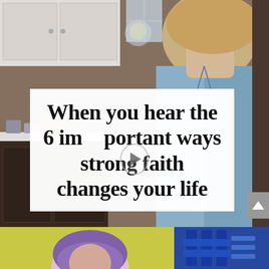[Figure (photo): Screenshot of a social media video thumbnail showing a woman in a denim jacket in a kitchen, with a white text overlay box reading 'When you hear the 6 important ways strong faith changes your life'. A play button icon is visible in the center. Below is a second video thumbnail showing a person with purple hair against a yellow background with blue equipment on the right.]
When you hear the 6 important ways strong faith changes your life